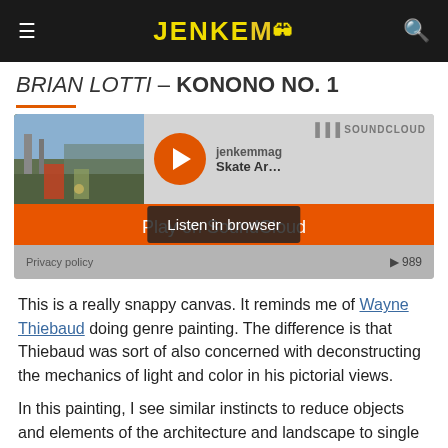JENKEM
BRIAN LOTTI – KONONO NO. 1
[Figure (screenshot): SoundCloud embedded player widget with thumbnail image showing a street scene, play button, jekemmag / Skate Ar track info, SoundCloud branding, 'Play on SoundCloud' orange button, 'Listen in browser' button, Privacy policy link, and play count 989.]
This is a really snappy canvas. It reminds me of Wayne Thiebaud doing genre painting. The difference is that Thiebaud was sort of also concerned with deconstructing the mechanics of light and color in his pictorial views.
In this painting, I see similar instincts to reduce objects and elements of the architecture and landscape to single